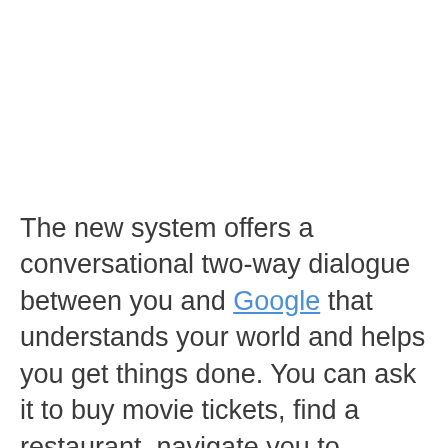The new system offers a conversational two-way dialogue between you and Google that understands your world and helps you get things done. You can ask it to buy movie tickets, find a restaurant, navigate you to locations and more.
A Google for you, by you
In addition to voice activated mode...